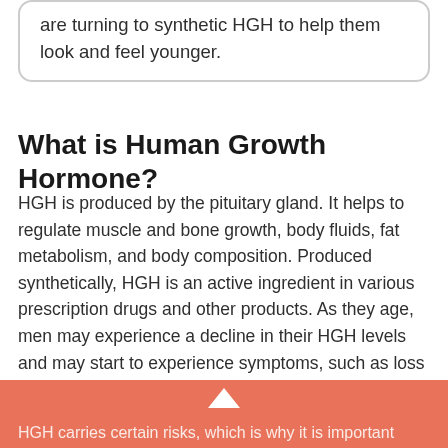are turning to synthetic HGH to help them look and feel younger.
What is Human Growth Hormone?
HGH is produced by the pituitary gland. It helps to regulate muscle and bone growth, body fluids, fat metabolism, and body composition. Produced synthetically, HGH is an active ingredient in various prescription drugs and other products. As they age, men may experience a decline in their HGH levels and may start to experience symptoms, such as loss of energy, fatigue, and low sex drive. HGH deficiency may also be caused by certain medical conditions.
How We Can Help
HGH carries certain risks, which is why it is important